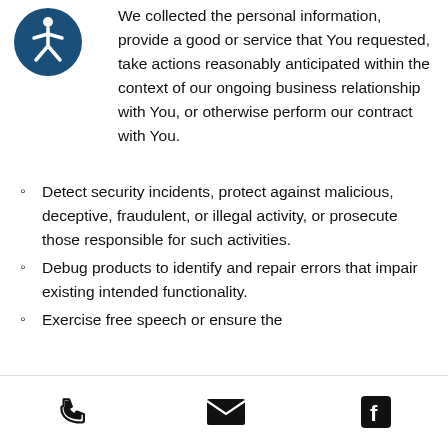[Figure (logo): Blue circular accessibility icon with white figure in wheelchair/person pose]
We collected the personal information, provide a good or service that You requested, take actions reasonably anticipated within the context of our ongoing business relationship with You, or otherwise perform our contract with You.
Detect security incidents, protect against malicious, deceptive, fraudulent, or illegal activity, or prosecute those responsible for such activities.
Debug products to identify and repair errors that impair existing intended functionality.
Exercise free speech or ensure the...
Phone | Email | Facebook